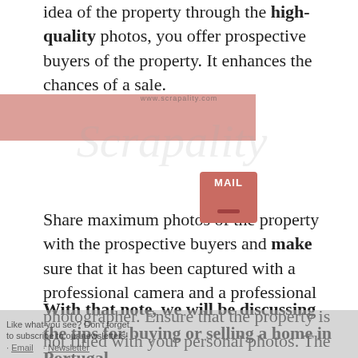idea of the property through the high-quality photos, you offer prospective buyers of the property. It enhances the chances of a sale.
[Figure (illustration): Watermark with scrapality.com logo and a mail/newsletter icon overlay, plus a subscription prompt overlay at the bottom]
Share maximum photos of the property with the prospective buyers and make sure that it has been captured with a professional camera and a professional photographer. Ensure that the property is not filled with your personal photos. The whole idea of visiting a property is to make the prospective buyer see the property as his/her own home, which seems complicated when someone else's personal photos are adorning the walls.
With that note, we will be discussing the tips for buying or selling a home in Portugal